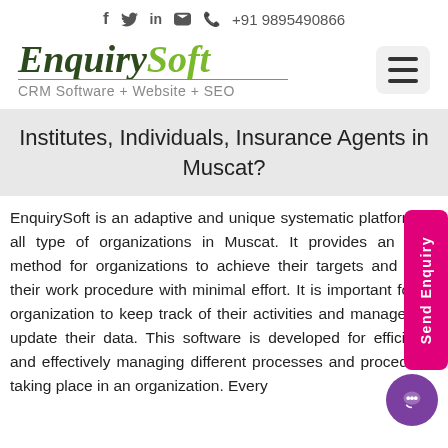f  🐦  in  ✉  📞 +91 9895490866
[Figure (logo): EnquirySoft logo with italic serif font, dark green for 'Enquiry' and lime green for 'Soft', with tagline 'CRM Software + Website + SEO']
Institutes, Individuals, Insurance Agents in Muscat?
EnquirySoft is an adaptive and unique systematic platform for all type of organizations in Muscat. It provides an ideal method for organizations to achieve their targets and unify their work procedure with minimal effort. It is important for an organization to keep track of their activities and manage and update their data. This software is developed for efficiently and effectively managing different processes and procedures taking place in an organization. Every